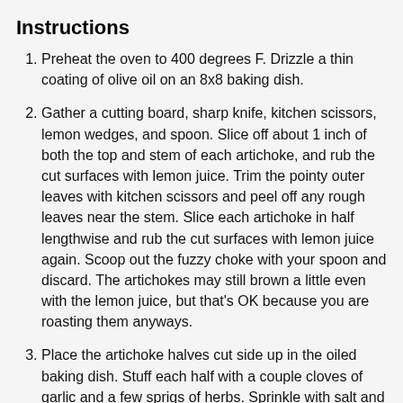Instructions
Preheat the oven to 400 degrees F. Drizzle a thin coating of olive oil on an 8x8 baking dish.
Gather a cutting board, sharp knife, kitchen scissors, lemon wedges, and spoon. Slice off about 1 inch of both the top and stem of each artichoke, and rub the cut surfaces with lemon juice. Trim the pointy outer leaves with kitchen scissors and peel off any rough leaves near the stem. Slice each artichoke in half lengthwise and rub the cut surfaces with lemon juice again. Scoop out the fuzzy choke with your spoon and discard. The artichokes may still brown a little even with the lemon juice, but that's OK because you are roasting them anyways.
Place the artichoke halves cut side up in the oiled baking dish. Stuff each half with a couple cloves of garlic and a few sprigs of herbs. Sprinkle with salt and pepper, and drizzle a little olive oil over them. Carefully flip each one over, making sure that the garlic stays in the center cavity, and drizzle the leaves with a little more oil. Cover the baking dish with foil and bake for 55 to 70 minutes, until the outer leaves are tender and you